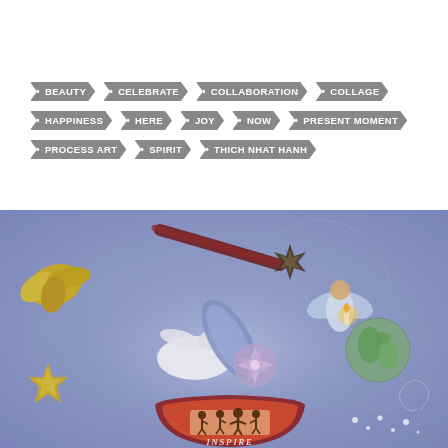• BEAUTY  • CELEBRATE  • COLLABORATION  • COLLAGE
• HAPPINESS  • HERE  • JOY  • NOW  • PRESENT MOMENT
• PROCESS ART  • SPIRIT  • THICH NHAT HANH
[Figure (illustration): Colorful spiritual collage on a lavender/periwinkle background featuring a white dove, gold foil angels/stars, a shooting star, a glowing angel figure holding a candle, a globe, mandala-like elements, and an 'Inspire Peace' banner with figures holding hands.]